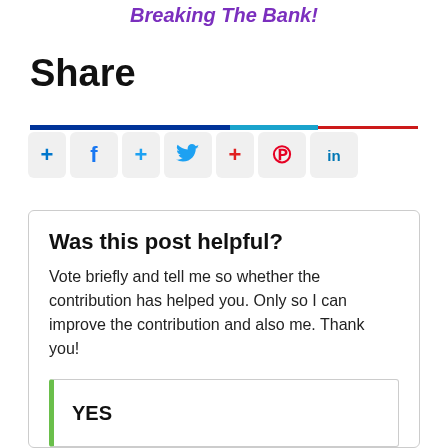Breaking The Bank!
Share
[Figure (infographic): Horizontal divider line with dark blue, light blue, and red segments]
[Figure (infographic): Social sharing buttons row: plus icon, Facebook icon, plus icon, Twitter icon, plus icon, Pinterest icon, LinkedIn icon]
Was this post helpful?
Vote briefly and tell me so whether the contribution has helped you. Only so I can improve the contribution and also me. Thank you!
YES